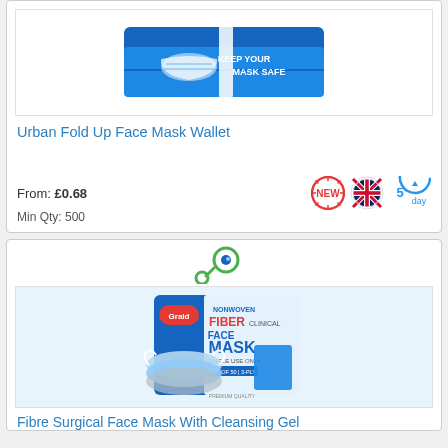[Figure (photo): Urban Fold Up Face Mask Wallet product image - blue folded wallet with face mask illustration and text KEEP YOUR MASK SAFE]
Urban Fold Up Face Mask Wallet
From: £0.68
Min Qty: 500
[Figure (photo): Magnify/zoom icon - green circular icon with magnifying glass]
[Figure (photo): Graid Nonwoven Fiber Face Mask product box image with surgical masks displayed]
Fibre Surgical Face Mask With Cleansing Gel